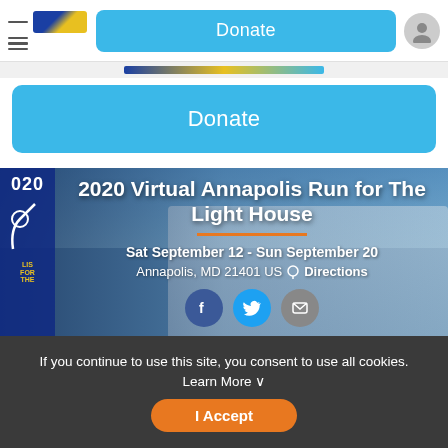Donate
Donate
2020 Virtual Annapolis Run for The Light House
Sat September 12 - Sun September 20
Annapolis, MD 21401 US  Directions
If you continue to use this site, you consent to use all cookies. Learn More
I Accept